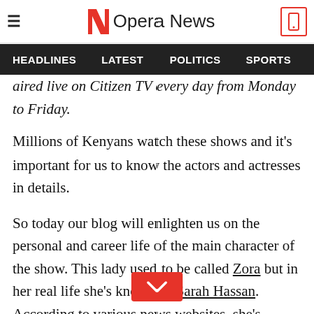Opera News
aired live on Citizen TV every day from Monday to Friday. Millions of Kenyans watch these shows and it's important for us to know the actors and actresses in details.
So today our blog will enlighten us on the personal and career life of the main character of the show. This lady used to be called Zora but in her real life she's known as Sarah Hassan. According to various news websites, she's described as one of those actresses who started acting at their teenage age. She's been spotted on the screens acting on Tahidi High, Zora Show as well as the wedding